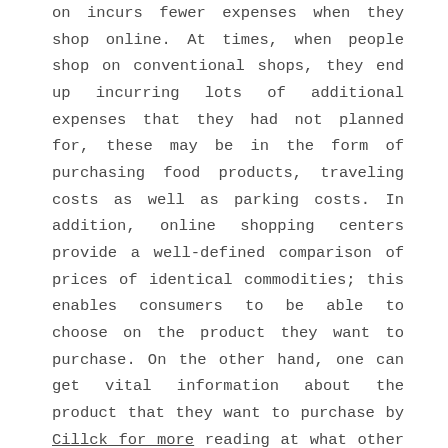on incurs fewer expenses when they shop online. At times, when people shop on conventional shops, they end up incurring lots of additional expenses that they had not planned for, these may be in the form of purchasing food products, traveling costs as well as parking costs. In addition, online shopping centers provide a well-defined comparison of prices of identical commodities; this enables consumers to be able to choose on the product they want to purchase. On the other hand, one can get vital information about the product that they want to purchase by Cillck for more reading at what other people are saying about the product on the review sections; also one can share information and reviews with other shoppers about the commodity they have purchased from the online store.
Shopping online provides shoppers an opportunity to